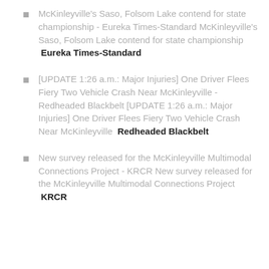McKinleyville's Saso, Folsom Lake contend for state championship - Eureka Times-Standard McKinleyville's Saso, Folsom Lake contend for state championship  Eureka Times-Standard
[UPDATE 1:26 a.m.: Major Injuries] One Driver Flees Fiery Two Vehicle Crash Near McKinleyville - Redheaded Blackbelt [UPDATE 1:26 a.m.: Major Injuries] One Driver Flees Fiery Two Vehicle Crash Near McKinleyville  Redheaded Blackbelt
New survey released for the McKinleyville Multimodal Connections Project - KRCR New survey released for the McKinleyville Multimodal Connections Project  KRCR